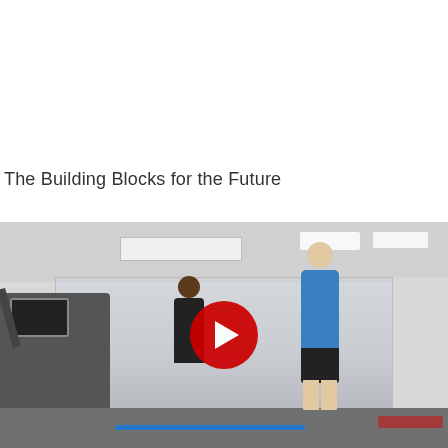The Building Blocks for the Future
[Figure (photo): A person in a blue hoodie and black shorts standing on a treadmill in a gym, with another person nearby and gym equipment visible. A YouTube play button overlay is centered on the image.]